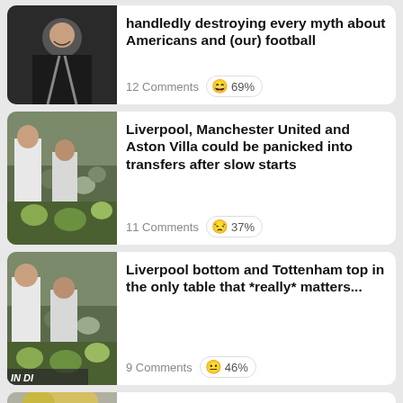[Figure (photo): Man in black jacket, smiling, sports context]
handledly destroying every myth about Americans and (our) football
12 Comments 😄 69%
[Figure (photo): Football players on pitch, crowd in background]
Liverpool, Manchester United and Aston Villa could be panicked into transfers after slow starts
11 Comments 😒 37%
[Figure (photo): Football players on pitch, crowd in background]
Liverpool bottom and Tottenham top in the only table that *really* matters...
9 Comments 😐 46%
[Figure (photo): Close-up of blonde person, partially visible]
Schweinsteiger claims